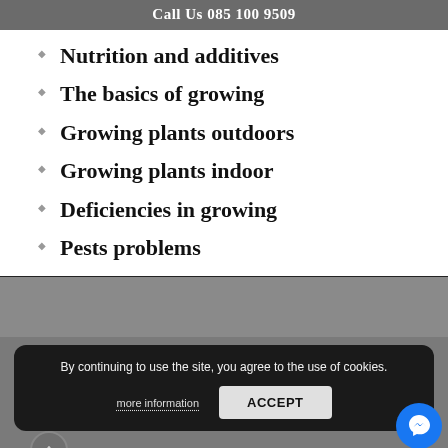Call Us 085 100 9509
Nutrition and additives
The basics of growing
Growing plants outdoors
Growing plants indoor
Deficiencies in growing
Pests problems
By continuing to use the site, you agree to the use of cookies.
more information
ACCEPT
Supplier.